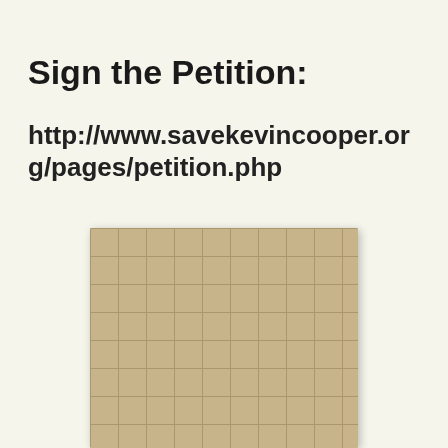Sign the Petition:
http://www.savekevincooper.org/pages/petition.php
[Figure (photo): Portrait photo of Kevin Cooper, a Black man with grey-streaked braided hair, mustache, smiling, wearing a blue prison shirt, photographed against a beige tiled wall background.]